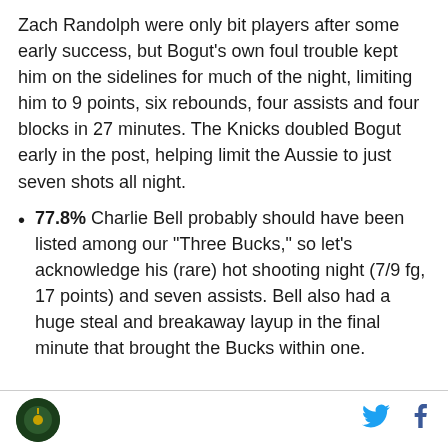Zach Randolph were only bit players after some early success, but Bogut's own foul trouble kept him on the sidelines for much of the night, limiting him to 9 points, six rebounds, four assists and four blocks in 27 minutes. The Knicks doubled Bogut early in the post, helping limit the Aussie to just seven shots all night.
77.8% Charlie Bell probably should have been listed among our "Three Bucks," so let's acknowledge his (rare) hot shooting night (7/9 fg, 17 points) and seven assists. Bell also had a huge steal and breakaway layup in the final minute that brought the Bucks within one.
[logo] [twitter] [facebook]